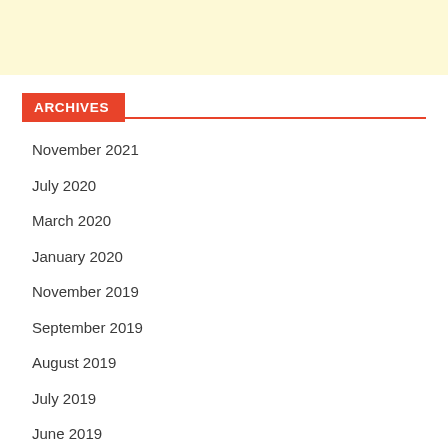ARCHIVES
November 2021
July 2020
March 2020
January 2020
November 2019
September 2019
August 2019
July 2019
June 2019
May 2019